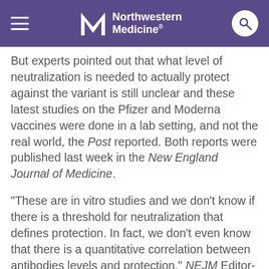Northwestern Medicine
But experts pointed out that what level of neutralization is needed to actually protect against the variant is still unclear and these latest studies on the Pfizer and Moderna vaccines were done in a lab setting, and not the real world, the Post reported. Both reports were published last week in the New England Journal of Medicine.
"These are in vitro studies and we don't know if there is a threshold for neutralization that defines protection. In fact, we don't even know that there is a quantitative correlation between antibodies levels and protection," NEJM Editor-in-Chief Eric Rubin said in a podcast on the findings. "It is very concerning that we don't know the clinical significance of these findings."